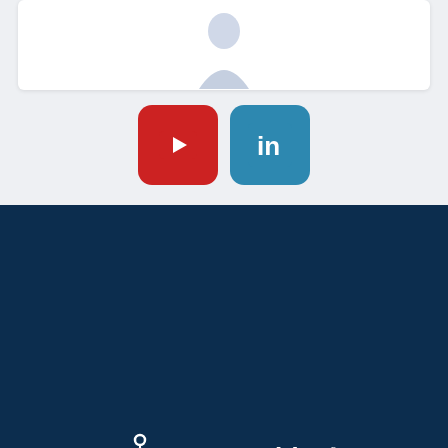[Figure (screenshot): White card with partial illustration of a figure at the top of the page]
[Figure (logo): YouTube icon - red rounded square with white play button]
[Figure (logo): LinkedIn icon - blue rounded square with white 'in' text]
[Figure (logo): Mapperidea logo with molecule-style icon and white text on dark navy background]
This website uses cookies. Please accept our use of cookies or review our privacy and cookie policy to adjust your settings..
Accept and hide this message
[Figure (other): Footer social media icons (Facebook, Instagram, LinkedIn, YouTube) in white on dark navy background]